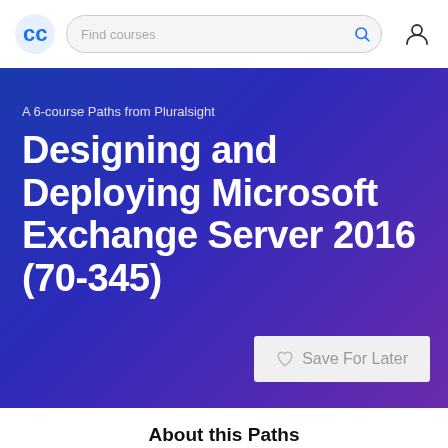Find courses
A 6-course Paths from Pluralsight
Designing and Deploying Microsoft Exchange Server 2016 (70-345)
About this Paths
Microsoft certification exam 70-345 validates that an IT professional is skilled in the design, deployment, and administration of Exchange Server 2016. This path will prepare